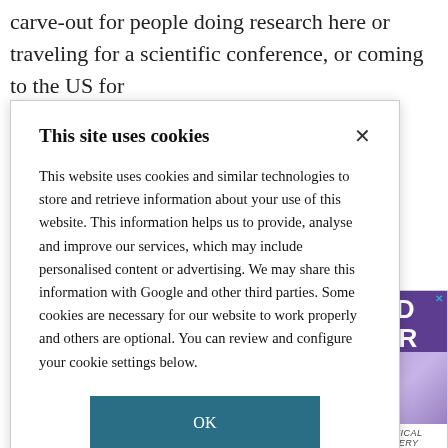carve-out for people doing research here or traveling for a scientific conference, or coming to the US for
[Figure (screenshot): Cookie consent modal dialog with title 'This site uses cookies', body text about cookies and data use, an OK button, and a COOKIE SETTINGS link.]
This site uses cookies
This website uses cookies and similar technologies to store and retrieve information about your use of this website. This information helps us to provide, analyse and improve our services, which may include personalised content or advertising. We may share this information with Google and other third parties. Some cookies are necessary for our website to work properly and others are optional. You can review and configure your cookie settings below.
OK
COOKIE SETTINGS
[Figure (illustration): Partial advertisement strip on the right side showing 'RLD NAR' text in purple/white, a purple-toned image, and 'STATISTICAL DISCOVERY' text below, with a yellow GET MORE bar at the bottom.]